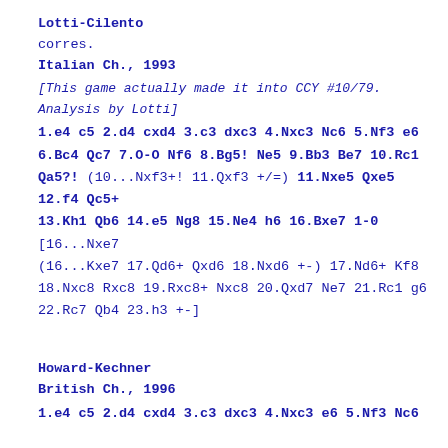Lotti-Cilento
corres.
Italian Ch., 1993
[This game actually made it into CCY #10/79. Analysis by Lotti]
1.e4 c5 2.d4 cxd4 3.c3 dxc3 4.Nxc3 Nc6 5.Nf3 e6 6.Bc4 Qc7 7.O-O Nf6 8.Bg5! Ne5 9.Bb3 Be7 10.Rc1 Qa5?! (10...Nxf3+! 11.Qxf3 +/=) 11.Nxe5 Qxe5 12.f4 Qc5+ 13.Kh1 Qb6 14.e5 Ng8 15.Ne4 h6 16.Bxe7 1-0 [16...Nxe7 (16...Kxe7 17.Qd6+ Qxd6 18.Nxd6 +-) 17.Nd6+ Kf8 18.Nxc8 Rxc8 19.Rxc8+ Nxc8 20.Qxd7 Ne7 21.Rc1 g6 22.Rc7 Qb4 23.h3 +-]
Howard-Kechner
British Ch., 1996
1.e4 c5 2.d4 cxd4 3.c3 dxc3 4.Nxc3 e6 5.Nf3 Nc6